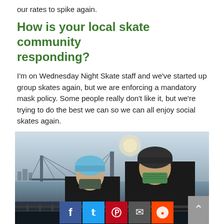our rates to spike again.
How is your local skate community responding?
I'm on Wednesday Night Skate staff and we've started up group skates again, but we are enforcing a mandatory mask policy. Some people really don't like it, but we're trying to do the best we can so we can all enjoy social skates again.
[Figure (photo): Two people wearing helmets and masks standing by a river with a suspension bridge in the background. Social media share buttons (Facebook, Twitter, Pinterest, Email, Reddit) are overlaid at the bottom of the image, along with a scroll-up arrow button.]